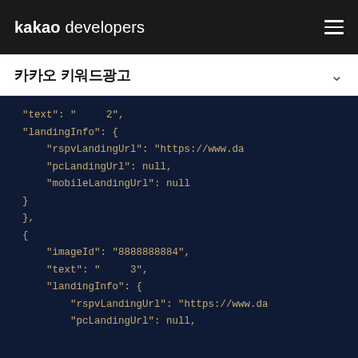kakao developers
카카오 키워드광고
"text": "     2",
"landingInfo": {
    "rspvLandingUrl": "https://www.da
    "pcLandingUrl": null,
    "mobileLandingUrl": null
}
},
{
    "imageId": "8888888884",
    "text": "     3",
    "landingInfo": {
        "rspvLandingUrl": "https://www.da
        "pcLandingUrl": null,